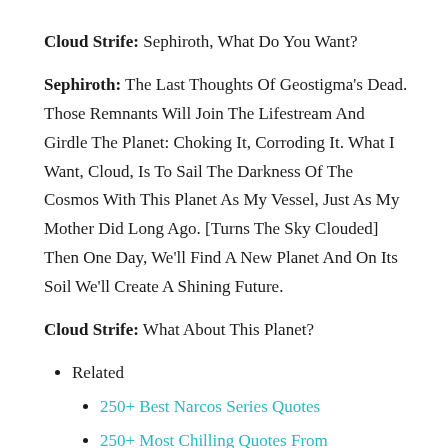Cloud Strife: Sephiroth, What Do You Want?
Sephiroth: The Last Thoughts Of Geostigma's Dead. Those Remnants Will Join The Lifestream And Girdle The Planet: Choking It, Corroding It. What I Want, Cloud, Is To Sail The Darkness Of The Cosmos With This Planet As My Vessel, Just As My Mother Did Long Ago. [Turns The Sky Clouded] Then One Day, We'll Find A New Planet And On Its Soil We'll Create A Shining Future.
Cloud Strife: What About This Planet?
Related
250+ Best Narcos Series Quotes
250+ Most Chilling Quotes From Mindhunter
250+ Best Dark Series Quotes